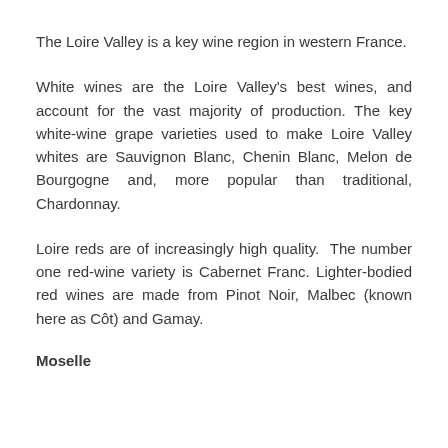The Loire Valley is a key wine region in western France.
White wines are the Loire Valley's best wines, and account for the vast majority of production. The key white-wine grape varieties used to make Loire Valley whites are Sauvignon Blanc, Chenin Blanc, Melon de Bourgogne and, more popular than traditional, Chardonnay.
Loire reds are of increasingly high quality.  The number one red-wine variety is Cabernet Franc. Lighter-bodied red wines are made from Pinot Noir, Malbec (known here as Côt) and Gamay.
Moselle